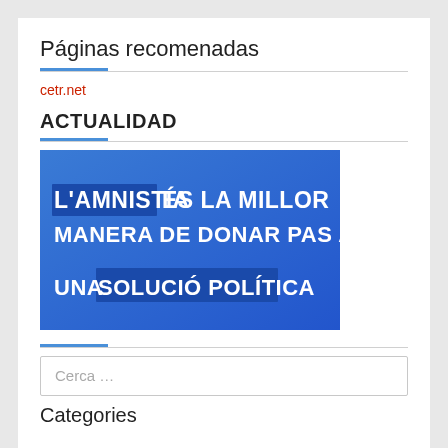Páginas recomenadas
cetr.net
ACTUALIDAD
[Figure (photo): Blue banner image with bold white text reading: L'AMNISTIA ÉS LA MILLOR MANERA DE DONAR PAS A UNA SOLUCIÓ POLÍTICA. The word AMNISTIA and phrase SOLUCIÓ POLÍTICA appear highlighted in a darker blue box.]
Cerca …
Categories